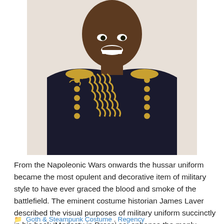[Figure (photo): A person wearing an ornate hussar-style military jacket with gold braiding and decorative elements, smiling at the camera. The photo is cropped to show upper body against a white background.]
From the Napoleonic Wars onwards the hussar uniform became the most opulent and decorative item of military style to have ever graced the blood and smoke of the battlefield. The eminent costume historian James Laver described the visual purposes of military uniform succinctly in his book ‘Modesty in Dress’ as: enhance the manly feeling of … Read more
Goth & Steampunk Costume, Regency